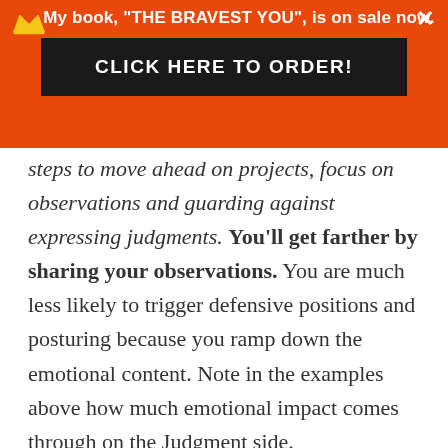My book, "THE BRAVEST YOU", is on sale now. CLICK HERE TO ORDER!
steps to move ahead on projects, focus on observations and guarding against expressing judgments. You'll get farther by sharing your observations. You are much less likely to trigger defensive positions and posturing because you ramp down the emotional content. Note in the examples above how much emotional impact comes through on the Judgment side.
(Fair warning: you will be misinterpreted